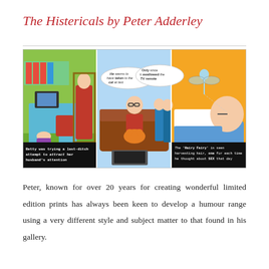The Histericals by Peter Adderley
[Figure (illustration): Three-panel comic strip illustration. Left panel: woman crouching under a desk in an office while a man stands in the doorway, caption reads 'Betty was trying a last-ditch attempt to attract her husband's attention'. Middle panel: man sitting on a sofa holding a cat with speech bubbles reading 'He seems to have taken to the cat at last' and 'Only since it swallowed the TV remote', with two women standing nearby. Right panel: man sleeping with a fairy figure flying above him, caption reads 'The Hairy Fairy is seen harvesting hair, one for each time he thought about SEX that day'.]
Peter, known for over 20 years for creating wonderful limited edition prints has always been keen to develop a humour range using a very different style and subject matter to that found in his gallery.